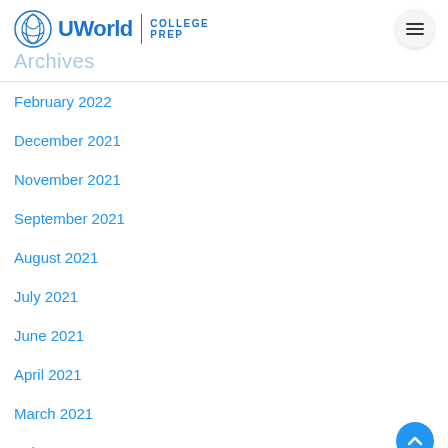UWorld COLLEGE PREP
Archives
February 2022
December 2021
November 2021
September 2021
August 2021
July 2021
June 2021
April 2021
March 2021
February 2021